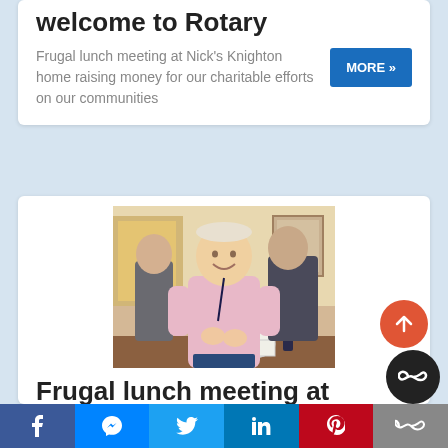welcome to Rotary
Frugal lunch meeting at Nick's Knighton home raising money for our charitable efforts on our communities
[Figure (photo): Photo of a smiling man in a pink jumper at a social gathering indoors, with other people visible in the background]
Frugal lunch meeting at
f  [messenger]  [twitter]  in  P  [more]